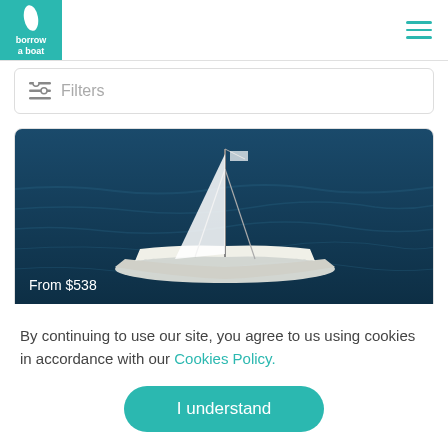borrow a boat
Filters
[Figure (photo): Aerial view of a white sailboat catamaran on dark blue ocean water. Price badge shows 'From $538' in white text on the image.]
Lagoon 40
Limassol Marina • Cyprus • Captain • Bareboat
By continuing to use our site, you agree to us using cookies in accordance with our Cookies Policy.